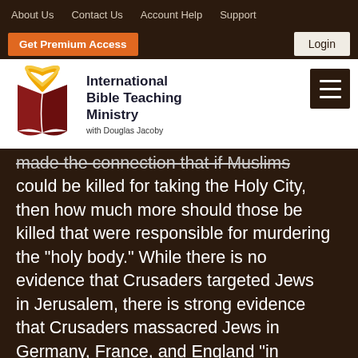About Us   Contact Us   Account Help   Support
Get Premium Access   Login
[Figure (logo): International Bible Teaching Ministry logo with open book and halo, with Douglas Jacoby subtitle]
made the connection that if Muslims could be killed for taking the Holy City, then how much more should those be killed that were responsible for murdering the "holy body." While there is no evidence that Crusaders targeted Jews in Jerusalem, there is strong evidence that Crusaders massacred Jews in Germany, France, and England "in preparation" for fighting in the Middle